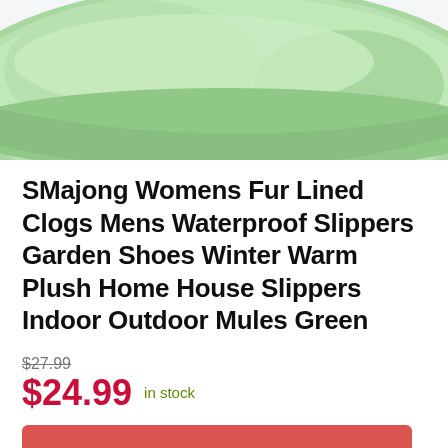[Figure (photo): Green clog/slipper shoe viewed from above and side, light green color, shown against a light grey/white background]
SMajong Womens Fur Lined Clogs Mens Waterproof Slippers Garden Shoes Winter Warm Plush Home House Slippers Indoor Outdoor Mules Green
$27.99
$24.99 in stock
BUY NOW
Amazon.com
as of August 28, 2022 10:10 am